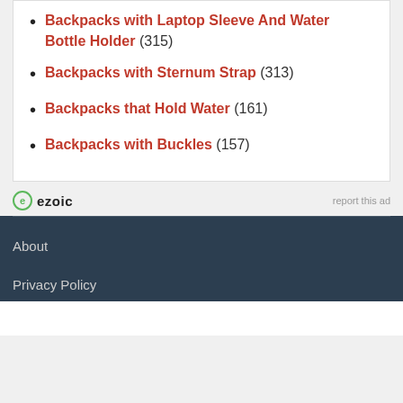Backpacks with Laptop Sleeve And Water Bottle Holder (315)
Backpacks with Sternum Strap (313)
Backpacks that Hold Water (161)
Backpacks with Buckles (157)
ezoic  report this ad
About
Privacy Policy